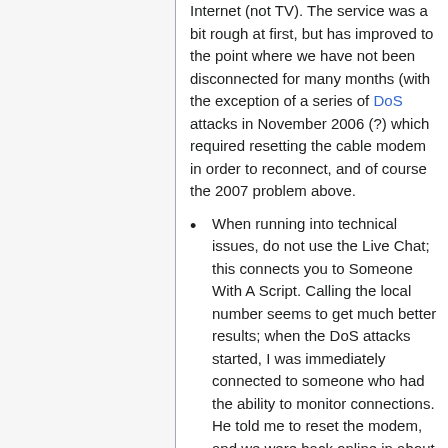Internet (not TV). The service was a bit rough at first, but has improved to the point where we have not been disconnected for many months (with the exception of a series of DoS attacks in November 2006 (?) which required resetting the cable modem in order to reconnect, and of course the 2007 problem above.
When running into technical issues, do not use the Live Chat; this connects you to Someone With A Script. Calling the local number seems to get much better results; when the DoS attacks started, I was immediately connected to someone who had the ability to monitor connections. He told me to reset the modem, and we were back online in about 2 minutes.